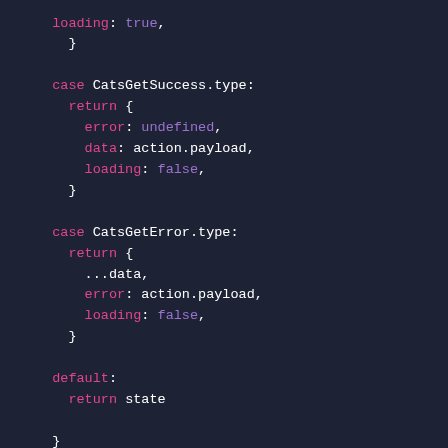[Figure (screenshot): Syntax-highlighted code snippet showing a JavaScript/TypeScript reducer switch-case block with cases for CatsGetSuccess.type and CatsGetError.type, and a default case.]